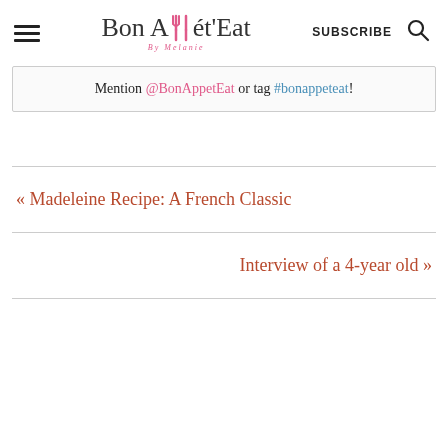Bon AppétEat By Melanie | SUBSCRIBE
Mention @BonAppetEat or tag #bonappeteat!
« Madeleine Recipe: A French Classic
Interview of a 4-year old »